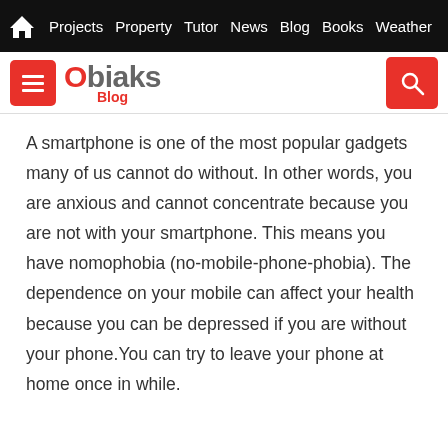Projects  Property  Tutor  News  Blog  Books  Weather
[Figure (logo): Obiaks Blog logo with red menu button and red search button]
A smartphone is one of the most popular gadgets many of us cannot do without. In other words, you are anxious and cannot concentrate because you are not with your smartphone. This means you have nomophobia (no-mobile-phone-phobia). The dependence on your mobile can affect your health because you can be depressed if you are without your phone.You can try to leave your phone at home once in while.